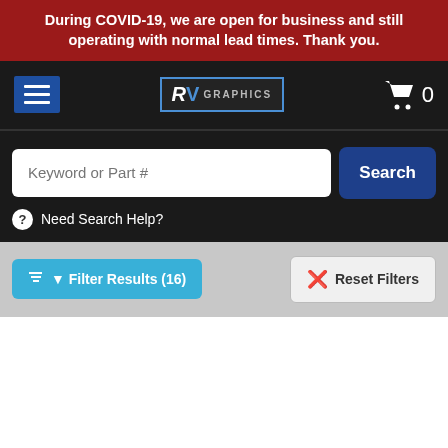During COVID-19, we are open for business and still operating with normal lead times. Thank you.
[Figure (screenshot): RV Graphics website navigation bar with hamburger menu, RV Graphics logo, and shopping cart icon with 0 items]
[Figure (screenshot): Search bar with placeholder 'Keyword or Part #' and a blue Search button, with Need Search Help? link below]
[Figure (screenshot): Filter bar with 'Filter Results (16)' teal button and 'Reset Filters' button on light grey background]